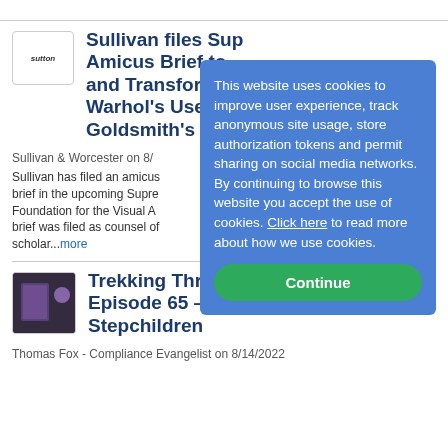Sullivan files Supreme Court Amicus Brief to Support Artistic and Transformative Nature of Warhol's Use of Photographer Goldsmith's Print
Sullivan & Worcester on 8/...
Sullivan has filed an amicus brief in the upcoming Supreme Court... Foundation for the Visual A... brief was filed as counsel of... scholar...more
Trekking Through... Episode 65 – Pla... Stepchildren
Thomas Fox - Compliance Evangelist on 8/14/2022
This website uses cookies to improve user experience, track anonymous site usage, store authorization tokens and permit sharing on social media networks. By continuing to browse this website you accept the use of cookies. Click here to read more about how we use cookies.